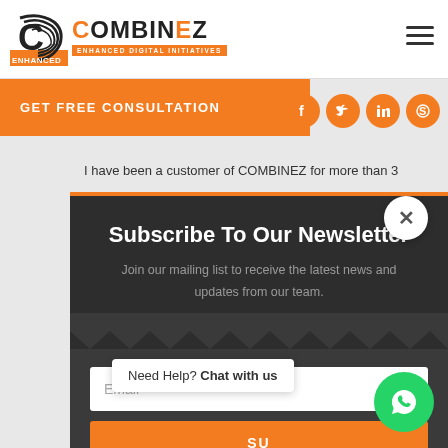[Figure (logo): CombineZ logo with spiral C icon and tagline ENHANCED DIGITAL INITIATIVES on orange bar]
[Figure (other): Hamburger menu icon top right]
GET FREE CONSULTATION
[Figure (other): Social media icons: Facebook, Twitter, LinkedIn, Skype in orange circles]
I have been a customer of COMBINEZ for more than 3
Subscribe To Our Newsletter
Join our mailing list to receive the latest news and updates from our team.
Email
SU
Need Help? Chat with us